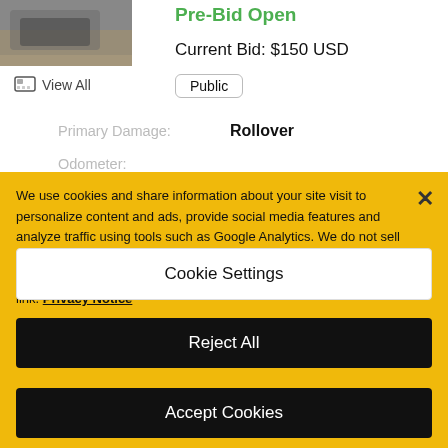[Figure (photo): Small thumbnail photo of a vehicle, partially visible at top left]
View All
Pre-Bid Open
Current Bid: $150 USD
Public
Primary Damage:  Rollover
Odometer:
We use cookies and share information about your site visit to personalize content and ads, provide social media features and analyze traffic using tools such as Google Analytics. We do not sell your personal information. You can view our privacy notice, cookie policy and how to exercise your rights by clicking the following link. Privacy Notice
Cookie Settings
Reject All
Accept Cookies